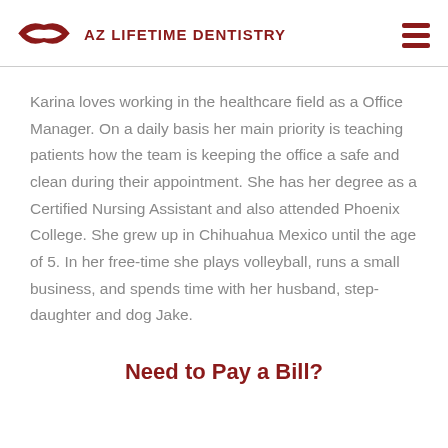AZ LIFETIME DENTISTRY
Karina loves working in the healthcare field as a Office Manager. On a daily basis her main priority is teaching patients how the team is keeping the office a safe and clean during their appointment. She has her degree as a Certified Nursing Assistant and also attended Phoenix College. She grew up in Chihuahua Mexico until the age of 5. In her free-time she plays volleyball, runs a small business, and spends time with her husband, step-daughter and dog Jake.
Need to Pay a Bill?